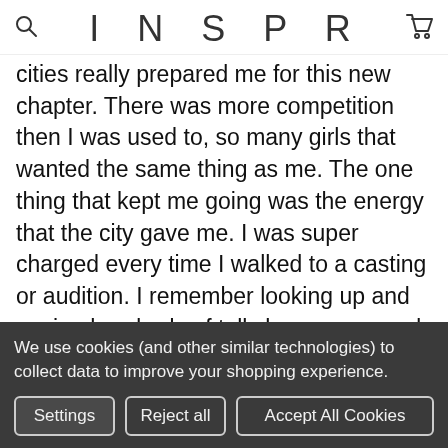INSPR
cities really prepared me for this new chapter. There was more competition then I was used to, so many girls that wanted the same thing as me. The one thing that kept me going was the energy that the city gave me. I was super charged every time I walked to a casting or audition. I remember looking up and seeing hundreds of tall skyscrapers and just feeling overwhelmed with happiness. This is the city that made me feel electric! ⚡
Los Angeles
We use cookies (and other similar technologies) to collect data to improve your shopping experience.